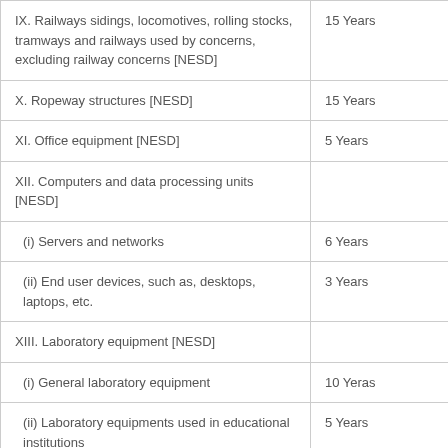| Description | Useful Life |
| --- | --- |
| IX. Railways sidings, locomotives, rolling stocks, tramways and railways used by concerns, excluding railway concerns [NESD] | 15 Years |
| X. Ropeway structures [NESD] | 15 Years |
| XI. Office equipment [NESD] | 5 Years |
| XII. Computers and data processing units [NESD] |  |
| (i) Servers and networks | 6 Years |
| (ii) End user devices, such as, desktops, laptops, etc. | 3 Years |
| XIII. Laboratory equipment [NESD] |  |
| (i) General laboratory equipment | 10 Yeras |
| (ii) Laboratory equipments used in educational institutions | 5 Years |
| XIV. Electrical Installations and Equipment [NESD] | 10 Years |